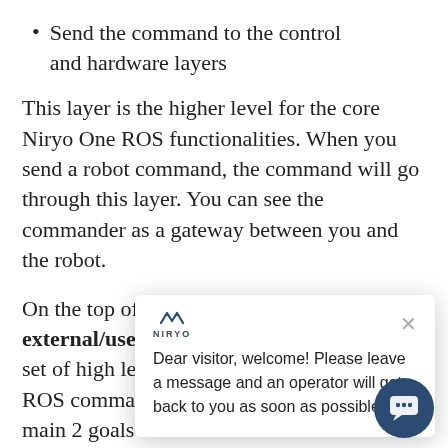Send the command to the control and hardware layers
This layer is the higher level for the core Niryo One ROS functionalities. When you send a robot command, the command will go through this layer. You can see the commander as a gateway between you and the robot.
On the top of this [layer, there is an] external/user lay[er, which provides a] set of high level in[terfaces on top of the] ROS commander [layer. The] main 2 goals of those interfaces are : 1. hiding the ROS complexity for users who want to use high level commands, and 2. Providing a way to control the robot from a
[Figure (screenshot): Chat popup overlay with Niryo logo, close button, and message: 'Dear visitor, welcome! Please leave a message and an operator will get back to you as soon as possible.']
[Figure (illustration): Dark blue circular chat bubble button in bottom right corner]